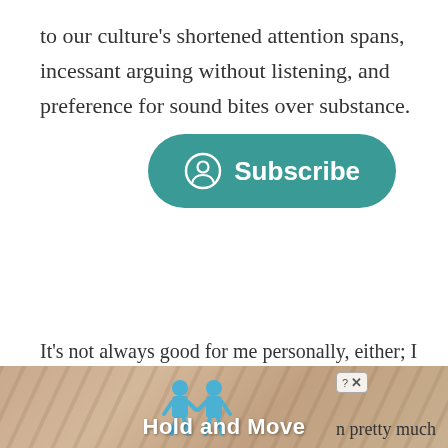to our culture's shortened attention spans, incessant arguing without listening, and preference for sound bites over substance.
It's not always good for me personally, either; I find I need
[Figure (screenshot): Teal/green rounded subscribe button with person/user circle icon and text 'Subscribe']
[Figure (illustration): Advertisement banner at bottom of page. Shows a wooden/sandy textured background with diagonal lines, two blue cartoon human figures, a close/info button overlay (? x), and bold white text reading 'Hold and Move'. Partially covered text at right reads 'n pretty much'.]